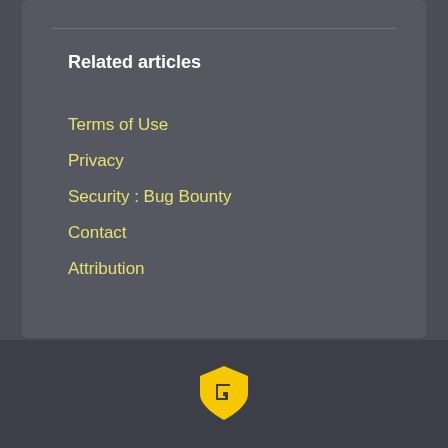Related articles
Terms of Use
Privacy
Security : Bug Bounty
Contact
Attribution
[Figure (logo): Yellow shield logo with letter G cutout, Gymlib or similar brand logo]